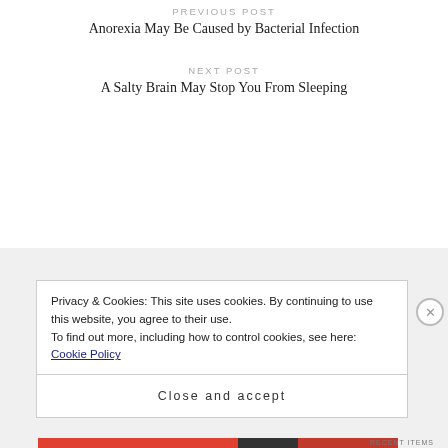PREVIOUS POST
Anorexia May Be Caused by Bacterial Infection
NEXT POST
A Salty Brain May Stop You From Sleeping
Privacy & Cookies: This site uses cookies. By continuing to use this website, you agree to their use.
To find out more, including how to control cookies, see here: Cookie Policy
Close and accept